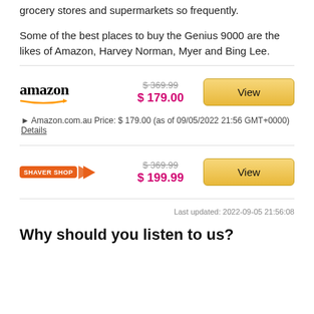grocery stores and supermarkets so frequently.
Some of the best places to buy the Genius 9000 are the likes of Amazon, Harvey Norman, Myer and Bing Lee.
| Retailer | Original Price | Sale Price | Action |
| --- | --- | --- | --- |
| amazon | $369.99 | $179.00 | View |
| SHAVER SHOP | $369.99 | $199.99 | View |
▶ Amazon.com.au Price: $ 179.00 (as of 09/05/2022 21:56 GMT+0000) Details
Last updated: 2022-09-05 21:56:08
Why should you listen to us?